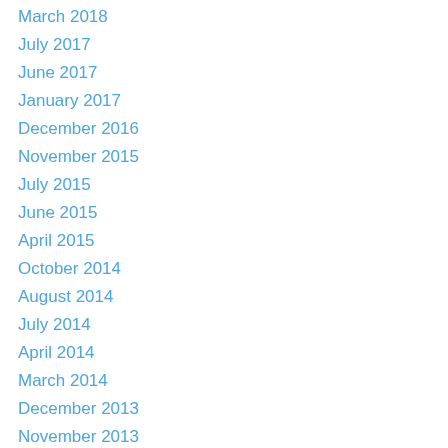March 2018
July 2017
June 2017
January 2017
December 2016
November 2015
July 2015
June 2015
April 2015
October 2014
August 2014
July 2014
April 2014
March 2014
December 2013
November 2013
October 2013
September 2013
August 2013
July 2013